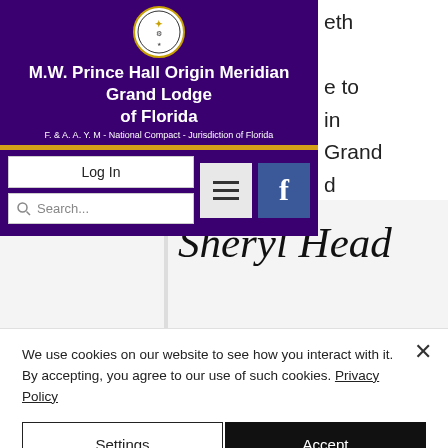[Figure (screenshot): M.W. Prince Hall Origin Meridian Grand Lodge of Florida website header with logo, navigation controls, login button, search box, hamburger menu, and Facebook button on dark purple background]
Sheryl Head
We use cookies on our website to see how you interact with it. By accepting, you agree to our use of such cookies. Privacy Policy
Settings
Accept